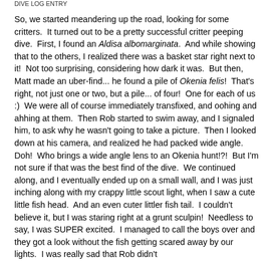DIVE LOG ENTRY
So, we started meandering up the road, looking for some critters.  It turned out to be a pretty successful critter peeping dive.  First, I found an Aldisa albomarginata.  And while showing that to the others, I realized there was a basket star right next to it!  Not too surprising, considering how dark it was.  But then, Matt made an uber-find... he found a pile of Okenia felis!  That's right, not just one or two, but a pile... of four!  One for each of us :)  We were all of course immediately transfixed, and oohing and ahhing at them.  Then Rob started to swim away, and I signaled him, to ask why he wasn't going to take a picture.  Then I looked down at his camera, and realized he had packed wide angle.  Doh!  Who brings a wide angle lens to an Okenia hunt!?!  But I'm not sure if that was the best find of the dive.  We continued along, and I eventually ended up on a small wall, and I was just inching along with my crappy little scout light, when I saw a cute little fish head.  And an even cuter littler fish tail.  I couldn't believe it, but I was staring right at a grunt sculpin!  Needless to say, I was SUPER excited.  I managed to call the boys over and they got a look without the fish getting scared away by our lights.  I was really sad that Rob didn't